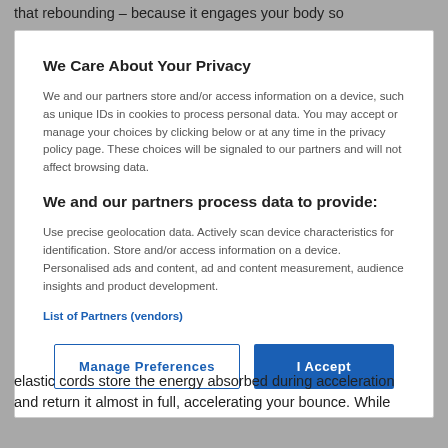that rebounding – because it engages your body so
We Care About Your Privacy
We and our partners store and/or access information on a device, such as unique IDs in cookies to process personal data. You may accept or manage your choices by clicking below or at any time in the privacy policy page. These choices will be signaled to our partners and will not affect browsing data.
We and our partners process data to provide:
Use precise geolocation data. Actively scan device characteristics for identification. Store and/or access information on a device. Personalised ads and content, ad and content measurement, audience insights and product development.
List of Partners (vendors)
Manage Preferences
I Accept
elastic cords store the energy absorbed during acceleration and return it almost in full, accelerating your bounce. While